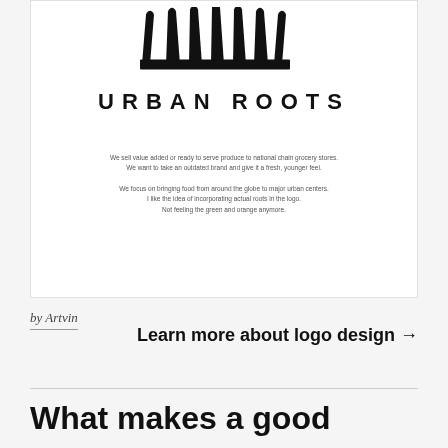[Figure (logo): Urban Roots logo: stylized black graphic of root/crown shapes above the text 'URBAN ROOTS' in bold spaced uppercase letters]
We sell value added or ready to serve produce to national chain grocery stores.
We want to take an outdated brand and give it a fresh, younger feel.

We focus on bringing food from around the globe to major urban centers.
I like the idea of incorporating actual roots in the logo.
Not feeling the green and orange anymore.
by Artvin
Learn more about logo design →
What makes a good spoon logo?